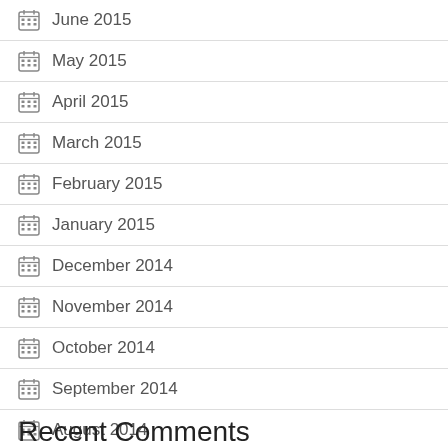June 2015
May 2015
April 2015
March 2015
February 2015
January 2015
December 2014
November 2014
October 2014
September 2014
August 2014
July 2014
June 2014
Recent Comments